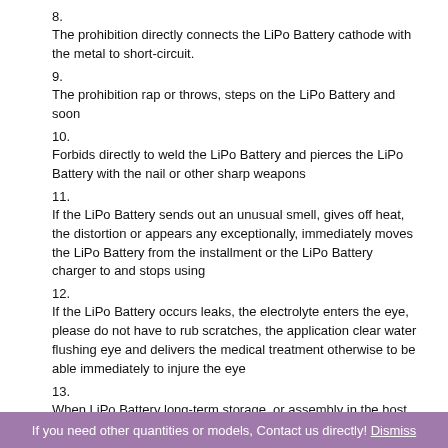8. The prohibition directly connects the LiPo Battery cathode with the metal to short-circuit.
9. The prohibition rap or throws, steps on the LiPo Battery and soon
10. Forbids directly to weld the LiPo Battery and pierces the LiPo Battery with the nail or other sharp weapons
11. If the LiPo Battery sends out an unusual smell, gives off heat, the distortion or appears any exceptionally, immediately moves the LiPo Battery from the installment or the LiPo Battery charger to and stops using
12. If the LiPo Battery occurs leaks, the electrolyte enters the eye, please do not have to rub scratches, the application clear water flushing eye and delivers the medical treatment otherwise to be able immediately to injure the eye
13. When LiPo Battery long-term storage, or assembly in the host, suggest customer should take every 6months carry on one-time charge and discharge and recharge it to half charged state (3.7-3.9V)(the method: 0.2CmA charge and discharge)
14. Abandon the LiPo Battery to wrap up the electrode using the insulating paper, prevented the LiPo Battery from short-circuits.
If you need other quantities or models, Contact us directly! Dismiss